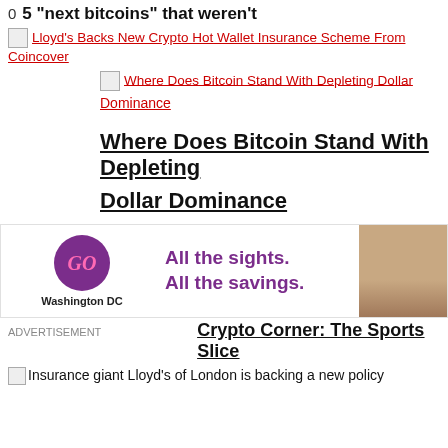0   5 “next bitcoins” that weren’t
Lloyd’s Backs New Crypto Hot Wallet Insurance Scheme From Coincover
Where Does Bitcoin Stand With Depleting Dollar Dominance
Where Does Bitcoin Stand With Depleting Dollar Dominance
[Figure (infographic): Advertisement banner: GO Washington DC logo (purple circle with pink GO text), tagline 'All the sights. All the savings.' in purple, partial photo of a person on the right]
ADVERTISEMENT
Crypto Corner: The Sports Slice
Insurance giant Lloyd’s of London is backing a new policy